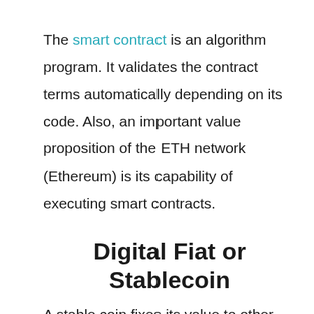The smart contract is an algorithm program. It validates the contract terms automatically depending on its code. Also, an important value proposition of the ETH network (Ethereum) is its capability of executing smart contracts.
Digital Fiat or Stablecoin
A stable coin fixes its value to other commodities or non-digital currency. A digital fiat is the representation of a